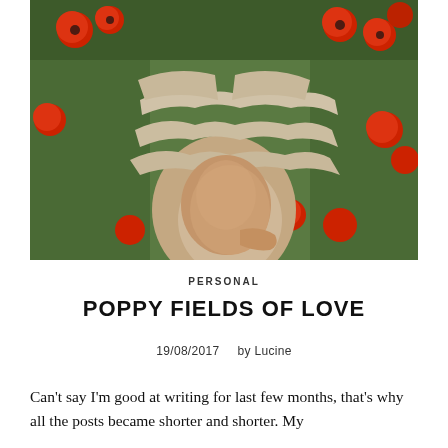[Figure (photo): A pregnant woman wearing a layered beige/taupe off-shoulder ruffled maternity dress, standing in a field of red poppies. The photo shows her torso from below the shoulders, with her hands cradling her bare baby bump. Bright red poppy flowers surround her against a green leafy background.]
PERSONAL
POPPY FIELDS OF LOVE
19/08/2017    by Lucine
Can't say I'm good at writing for last few months, that's why all the posts became shorter and shorter. My